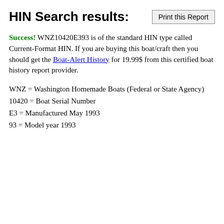HIN Search results:
Success! WNZ10420E393 is of the standard HIN type called Current-Format HIN. If you are buying this boat/craft then you should get the Boat-Alert History for 19.99$ from this certified boat history report provider.
WNZ = Washington Homemade Boats (Federal or State Agency)
10420 = Boat Serial Number
E3 = Manufactured May 1993
93 = Model year 1993